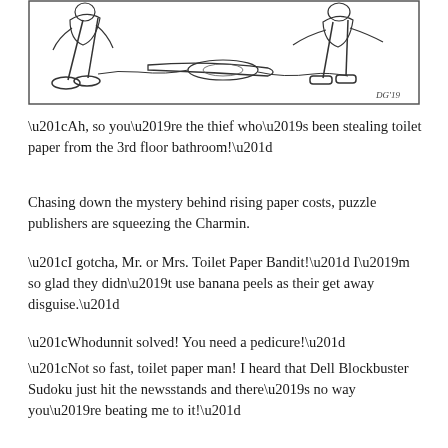[Figure (illustration): A comic/cartoon illustration showing figures on the ground, one appears to be apprehended, with a signature 'DG'19' in the bottom right corner of the panel. Drawn in black and white line art style.]
“Ah, so you’re the thief who’s been stealing toilet paper from the 3rd floor bathroom!”
Chasing down the mystery behind rising paper costs, puzzle publishers are squeezing the Charmin.
“I gotcha, Mr. or Mrs. Toilet Paper Bandit!” I’m so glad they didn’t use banana peels as their get away disguise.”
“Whodunnit solved! You need a pedicure!”
“Not so fast, toilet paper man! I heard that Dell Blockbuster Sudoku just hit the newsstands and there’s no way you’re beating me to it!”